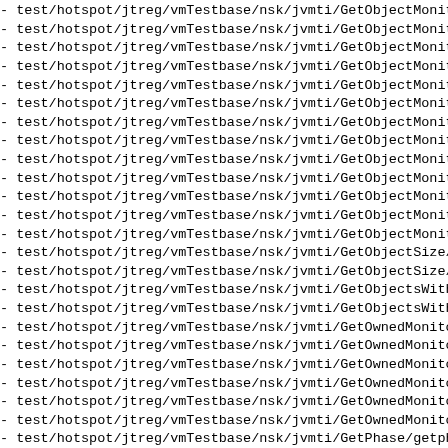- test/hotspot/jtreg/vmTestbase/nsk/jvmti/GetObjectMonito
- test/hotspot/jtreg/vmTestbase/nsk/jvmti/GetObjectMonito
- test/hotspot/jtreg/vmTestbase/nsk/jvmti/GetObjectMonito
- test/hotspot/jtreg/vmTestbase/nsk/jvmti/GetObjectMonito
- test/hotspot/jtreg/vmTestbase/nsk/jvmti/GetObjectMonito
- test/hotspot/jtreg/vmTestbase/nsk/jvmti/GetObjectMonito
- test/hotspot/jtreg/vmTestbase/nsk/jvmti/GetObjectMonito
- test/hotspot/jtreg/vmTestbase/nsk/jvmti/GetObjectMonito
- test/hotspot/jtreg/vmTestbase/nsk/jvmti/GetObjectMonito
- test/hotspot/jtreg/vmTestbase/nsk/jvmti/GetObjectMonito
- test/hotspot/jtreg/vmTestbase/nsk/jvmti/GetObjectMonito
- test/hotspot/jtreg/vmTestbase/nsk/jvmti/GetObjectMonito
- test/hotspot/jtreg/vmTestbase/nsk/jvmti/GetObjectMonito
- test/hotspot/jtreg/vmTestbase/nsk/jvmti/GetObjectSize/o
- test/hotspot/jtreg/vmTestbase/nsk/jvmti/GetObjectSize/o
- test/hotspot/jtreg/vmTestbase/nsk/jvmti/GetObjectsWithT
- test/hotspot/jtreg/vmTestbase/nsk/jvmti/GetObjectsWithT
- test/hotspot/jtreg/vmTestbase/nsk/jvmti/GetOwnedMonitor
- test/hotspot/jtreg/vmTestbase/nsk/jvmti/GetOwnedMonitor
- test/hotspot/jtreg/vmTestbase/nsk/jvmti/GetOwnedMonitor
- test/hotspot/jtreg/vmTestbase/nsk/jvmti/GetOwnedMonitor
- test/hotspot/jtreg/vmTestbase/nsk/jvmti/GetOwnedMonitor
- test/hotspot/jtreg/vmTestbase/nsk/jvmti/GetOwnedMonitor
- test/hotspot/jtreg/vmTestbase/nsk/jvmti/GetPhase/getpha
- test/hotspot/jtreg/vmTestbase/nsk/jvmti/GetPhase/getpha
- test/hotspot/jtreg/vmTestbase/nsk/jvmti/GetPhase/getpha
- test/hotspot/jtreg/vmTestbase/nsk/jvmti/GetPhase/getpha
- test/hotspot/jtreg/vmTestbase/nsk/jvmti/GetPotentialCap
- test/hotspot/jtreg/vmTestbase/nsk/jvmti/GetPotentialCap
- test/hotspot/jtreg/vmTestbase/nsk/jvmti/GetSourceDebugE
- test/hotspot/jtreg/vmTestbase/nsk/jvmti/GetSourceDebugE
- test/hotspot/jtreg/vmTestbase/nsk/jvmti/GetSourceDe...